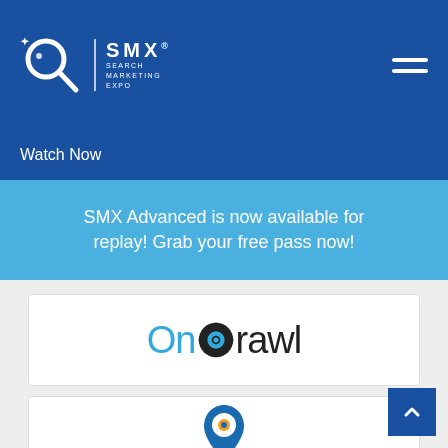[Figure (logo): SMX Search Marketing Expo logo — magnifying glass icon with SMX lettering and hamburger menu icon]
Watch Now
SMX Advanced is now available for replay! Grab your free pass now!
[Figure (logo): Oncrawl logo — blue 'On' text followed by dark 'crawl' text with a camera/crawl icon replacing the 'o']
[Figure (logo): PlacesScout logo — blue location pin with orange dot, text partially visible reading 'PlacesScout']